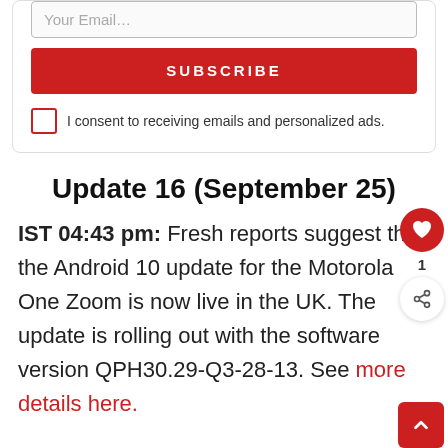[Figure (screenshot): Email subscription form with input field, red SUBSCRIBE button, and consent checkbox]
Update 16 (September 25)
IST 04:43 pm: Fresh reports suggest that the Android 10 update for the Motorola One Zoom is now live in the UK. The update is rolling out with the software version QPH30.29-Q3-28-13. See more details here.